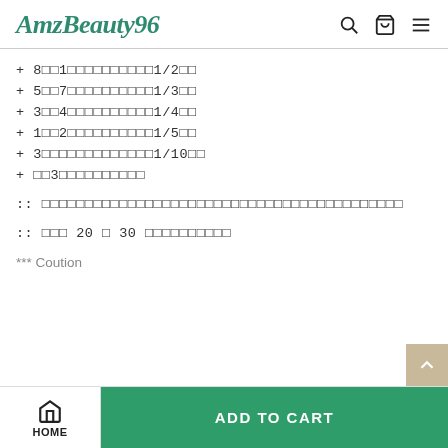AmzBeauty96
+ 8□□1□□□□□□□□□□1/2□□
+ 5□□7□□□□□□□□□□1/3□□
+ 3□□4□□□□□□□□□□1/4□□
+ 1□□2□□□□□□□□□□1/5□□
+ 3□□□□□□□□□□□□□1/10□□
+ □□3□□□□□□□□□□
:: □□□□□□□□□□□□□□□□□□□□□□□□□□□□□□□□□□□□□□□□□□
:: □□□ 20 □ 30 □□□□□□□□□□
*** Coution